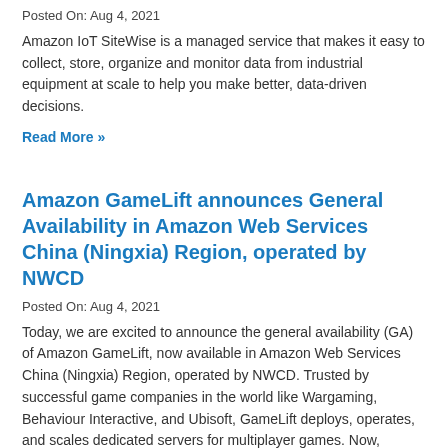Posted On: Aug 4, 2021
Amazon IoT SiteWise is a managed service that makes it easy to collect, store, organize and monitor data from industrial equipment at scale to help you make better, data-driven decisions.
Read More »
Amazon GameLift announces General Availability in Amazon Web Services China (Ningxia) Region, operated by NWCD
Posted On: Aug 4, 2021
Today, we are excited to announce the general availability (GA) of Amazon GameLift, now available in Amazon Web Services China (Ningxia) Region, operated by NWCD. Trusted by successful game companies in the world like Wargaming, Behaviour Interactive, and Ubisoft, GameLift deploys, operates, and scales dedicated servers for multiplayer games. Now, GameLift and its full suite of features has increased its coverage further, while providing seamless, low-latency